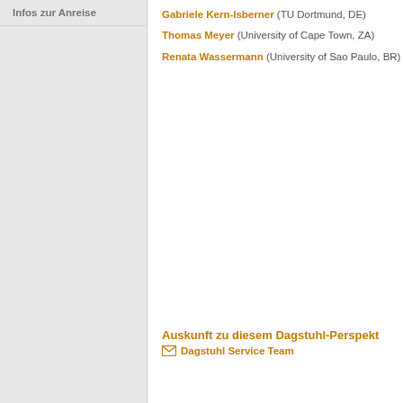Infos zur Anreise
Gabriele Kern-Isberner (TU Dortmund, DE)
Thomas Meyer (University of Cape Town, ZA)
Renata Wassermann (University of Sao Paulo, BR)
Auskunft zu diesem Dagstuhl-Perspekt
Dagstuhl Service Team